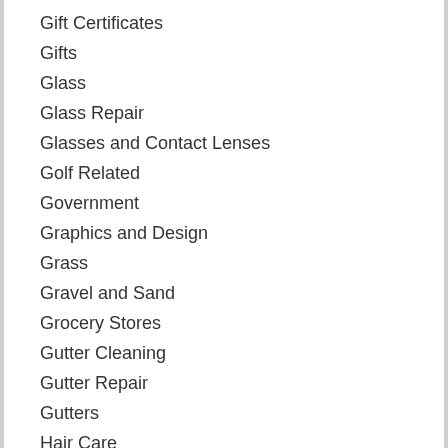Gift Certificates
Gifts
Glass
Glass Repair
Glasses and Contact Lenses
Golf Related
Government
Graphics and Design
Grass
Gravel and Sand
Grocery Stores
Gutter Cleaning
Gutter Repair
Gutters
Hair Care